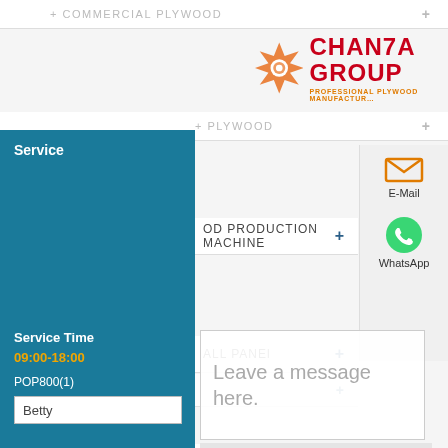[Figure (screenshot): Screenshot of Chanta Group plywood manufacturer website with navigation menu, contact panel, service chat widget, and message form overlay]
+ COMMERCIAL PLYWOOD
[Figure (logo): Chanta Group logo - orange flame/star shape with red bold text CHANTA GROUP and orange subtitle PROFESSIONAL PLYWOOD MANUFACTURER]
Service
+ PLYWOOD
+ OOD PRODUCTION MACHINE
Service Time
09:00-18:00
POP800(1)
Betty
+ ALL PANEL
+ WPC DECKING
Leave a message here.
+ ENGINEERED FLOORING
Name:
Tel.:
Email:
+ FILM FACED PLYWOOD
E-Mail
WhatsApp